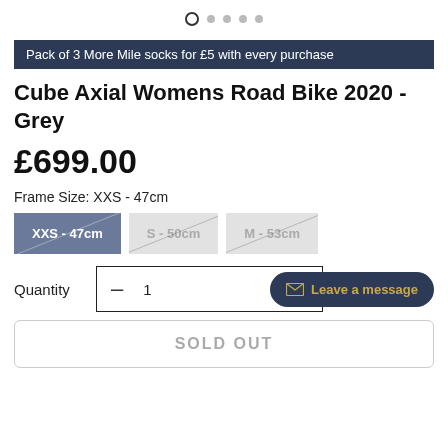[Figure (other): Carousel navigation dots, 4 dots with first one active/outlined]
Pack of 3 More Mile socks for £5 with every purchase
Cube Axial Womens Road Bike 2020 - Grey
£699.00
Frame Size: XXS - 47cm
XXS - 47cm | S - 50cm | M - 53cm
Quantity  –  1
Leave a message
SOLD OUT